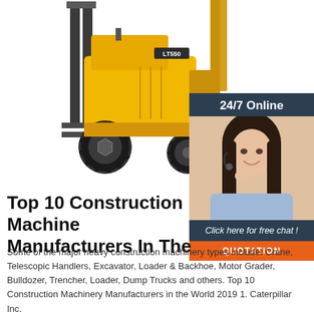[Figure (photo): Yellow industrial forklift (LT550) with black tires on white background]
[Figure (photo): Dark blue sidebar box showing '24/7 Online', a female customer service agent with headset smiling, 'Click here for free chat!' text, and an orange QUOTATION button]
Top 10 Construction Machine Manufacturers In The
Some of the major heavy construction machinery types include: Crane, Telescopic Handlers, Excavator, Loader & Backhoe, Motor Grader, Bulldozer, Trencher, Loader, Dump Trucks and others. Top 10 Construction Machinery Manufacturers in the World 2019 1. Caterpillar Inc.